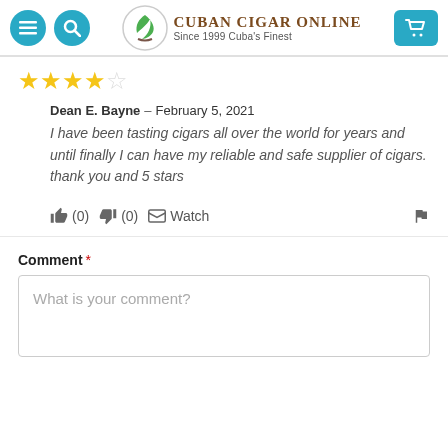Cuban Cigar Online — Since 1999 Cuba's Finest
[Figure (other): 4 out of 5 stars rating]
Dean E. Bayne – February 5, 2021
I have been tasting cigars all over the world for years and until finally I can have my reliable and safe supplier of cigars. thank you and 5 stars
(0) (0) Watch
Comment *
What is your comment?